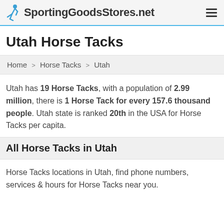SportingGoodsStores.net
Utah Horse Tacks
Home > Horse Tacks > Utah
Utah has 19 Horse Tacks, with a population of 2.99 million, there is 1 Horse Tack for every 157.6 thousand people. Utah state is ranked 20th in the USA for Horse Tacks per capita.
All Horse Tacks in Utah
Horse Tacks locations in Utah, find phone numbers, services & hours for Horse Tacks near you.